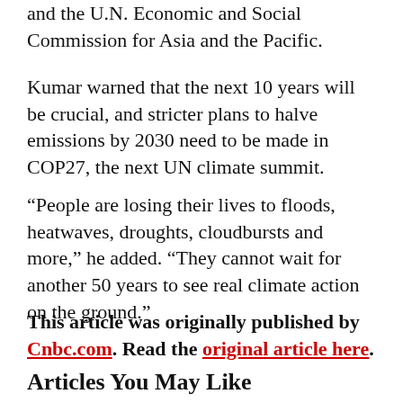and the U.N. Economic and Social Commission for Asia and the Pacific.
Kumar warned that the next 10 years will be crucial, and stricter plans to halve emissions by 2030 need to be made in COP27, the next UN climate summit.
“People are losing their lives to floods, heatwaves, droughts, cloudbursts and more,” he added. “They cannot wait for another 50 years to see real climate action on the ground.”
This article was originally published by Cnbc.com. Read the original article here.
Articles You May Like